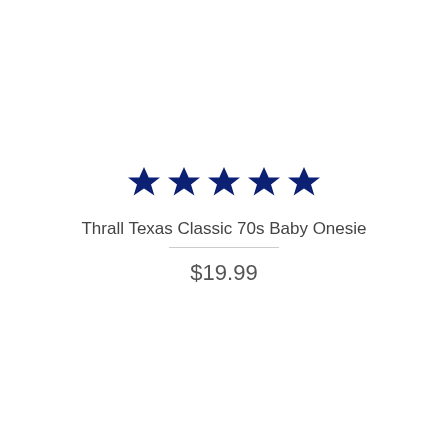[Figure (other): Five dark navy blue filled star icons in a row representing a 5-star rating]
Thrall Texas Classic 70s Baby Onesie
$19.99